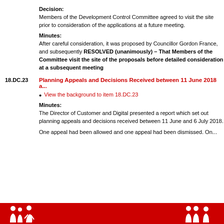Decision:
Members of the Development Control Committee agreed to visit the site prior to consideration of the applications at a future meeting.
Minutes:
After careful consideration, it was proposed by Councillor Gordon France, and subsequently RESOLVED (unanimously) – That Members of the Committee visit the site of the proposals before detailed consideration at a subsequent meeting
18.DC.23  Planning Appeals and Decisions Received between 11 June 2018 a...
View the background to item 18.DC.23
Minutes:
The Director of Customer and Digital presented a report which set out planning appeals and decisions received between 11 June and 6 July 2018.
One appeal had been allowed and one appeal had been dismissed. On...